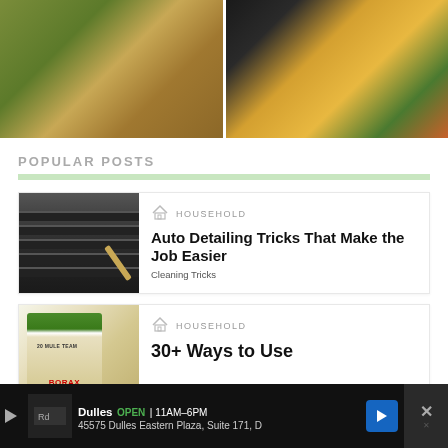[Figure (photo): Two food images side by side at the top - left shows a baked potato with sprinkles on green grass, right shows a loaded baked potato with cheese and toppings on dark background]
POPULAR POSTS
[Figure (photo): Thumbnail of a hand using a brush to clean car air vent slats]
HOUSEHOLD
Auto Detailing Tricks That Make the Job Easier
Cleaning Tricks
[Figure (photo): Thumbnail of 20 Mule Team Borax box]
HOUSEHOLD
30+ Ways to Use
[Figure (screenshot): Advertisement bar: Dulles store, OPEN 11AM-6PM, 45575 Dulles Eastern Plaza, Suite 171, D]